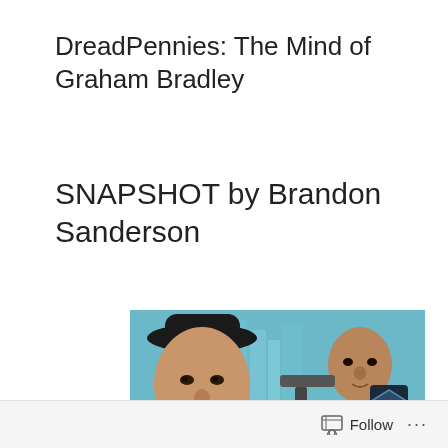DreadPennies: The Mind of Graham Bradley
SNAPSHOT by Brandon Sanderson
[Figure (illustration): Book cover image for SNAPSHOT by Brandon Sanderson, showing two men — one in a wide-brimmed hat in the foreground, another in the background holding a gun and badge — in a stylized urban noir setting with the text 'BRANDON SANDERSON' displayed prominently at the bottom.]
Follow ...